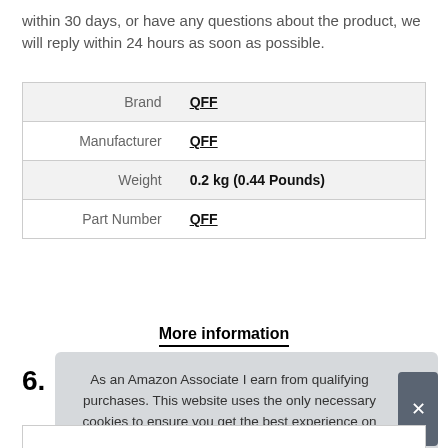within 30 days, or have any questions about the product, we will reply within 24 hours as soon as possible.
| Brand | QFF |
| Manufacturer | QFF |
| Weight | 0.2 kg (0.44 Pounds) |
| Part Number | QFF |
More information
6.
As an Amazon Associate I earn from qualifying purchases. This website uses the only necessary cookies to ensure you get the best experience on our website. More information